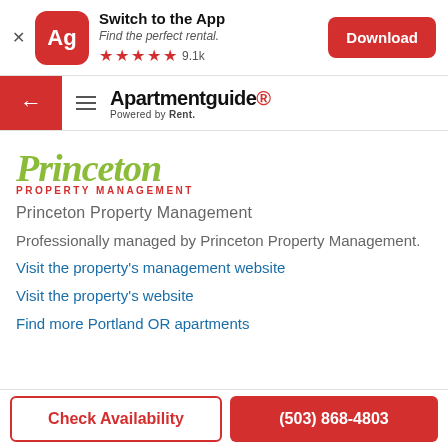[Figure (screenshot): App banner with Ag icon, Switch to the App headline, 5 stars 9.1k rating, and Download button]
← ≡ Apartmentguide Powered by Rent.
[Figure (logo): Princeton Property Management logo with green script text and red all-caps subtitle]
Princeton Property Management
Professionally managed by Princeton Property Management.
Visit the property's management website
Visit the property's website
Find more Portland OR apartments
Check Availability    (503) 868-4803